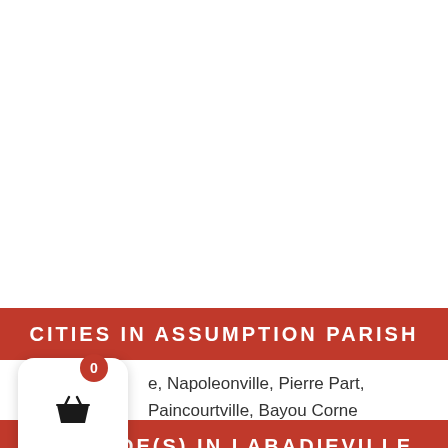CITIES IN ASSUMPTION PARISH
e, Napoleonville, Pierre Part, Paincourtville, Bayou Corne
ZIP CODE(S) IN LABADIEVILLE